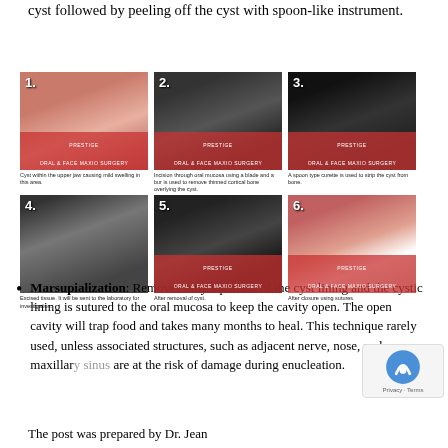cyst followed by peeling off the cyst with spoon-like instrument.
[Figure (photo): 6-panel surgical photo sequence showing jaw cyst removal procedure: 1) Cyst within the upper jaw causing mild swelling in this area. 2) Incision through oral mucosa using a blade and a bur is used to remove thinned cortical bone overlying the cyst. 3) A spoon type curette is used to strip the cyst from bone. 4) Excised tissue. It will be sent to the laboratory for investigation. 5) After removal of cyst. 6) After closure using sutures.]
Marsupialization: Removes only a portion of the cyst lining and the cystic lining is sutured to the oral mucosa to keep the cavity open. The open cavity will trap food and takes many months to heal. This technique rarely used, unless associated structures, such as adjacent nerve, nose, and maxillary sinus are at the risk of damage during enucleation.
The post was prepared by Dr. Jean